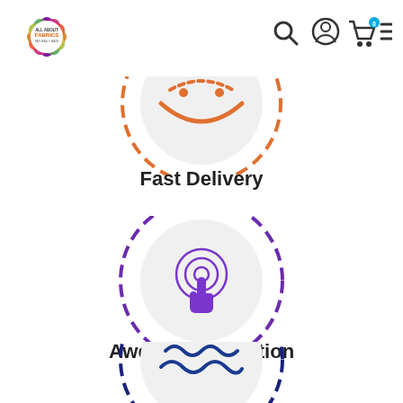[Figure (logo): All About Fabrics colorful starburst logo]
[Figure (infographic): Navigation icons: search magnifying glass, user account circle, shopping cart with 0 badge, hamburger menu]
[Figure (illustration): Fast Delivery icon: partial circle with orange dashed border, orange speed/delivery graphic, grey circle background - cropped at top]
Fast Delivery
[Figure (illustration): Awesome Selection icon: full circle with purple dashed border, grey circle background, purple hand-clicking/touch icon in center]
Awesome Selection
[Figure (illustration): Third feature icon: circle with dark blue dashed border, grey circle background, dark blue wavy/fabric texture icon - partially cropped at bottom]